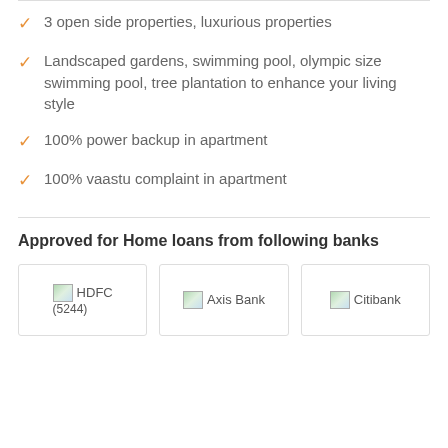3 open side properties, luxurious properties
Landscaped gardens, swimming pool, olympic size swimming pool, tree plantation to enhance your living style
100% power backup in apartment
100% vaastu complaint in apartment
Approved for Home loans from following banks
[Figure (logo): HDFC bank logo placeholder image]
[Figure (logo): Axis Bank logo placeholder image]
[Figure (logo): Citibank logo placeholder image]